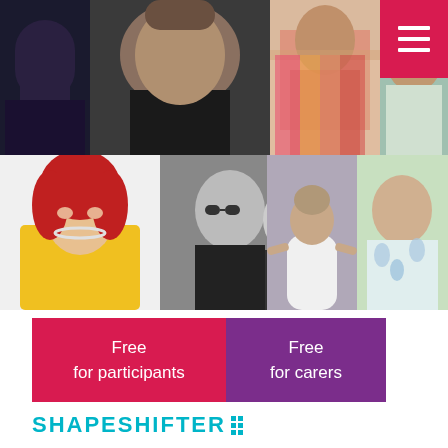[Figure (photo): Grid of performer/celebrity photos arranged in two rows of four columns. Top row: dark moody portrait, smiling man in black, woman in colorful pink outfit, partially cut off. Bottom row: drag queen in yellow dress with red hair, black and white photo of two women laughing, woman in white dress sitting on floor, man in floral shirt outdoors.]
[Figure (other): Hamburger menu button in crimson/pink background with three white horizontal lines]
Free
for participants
Free
for carers
SHAPESHIFTER